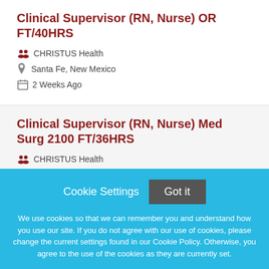Clinical Supervisor (RN, Nurse) OR FT/40HRS
CHRISTUS Health
Santa Fe, New Mexico
2 Weeks Ago
Clinical Supervisor (RN, Nurse) Med Surg 2100 FT/36HRS
CHRISTUS Health
Cookie Settings  Got it

We use cookies so that we can remember you and understand how you use our site. If you do not agree with our use of cookies, please change the current settings found in our Cookie Policy. Otherwise, you agree to the use of the cookies as they are currently set.